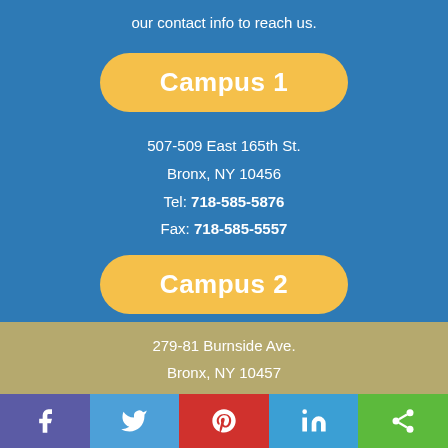our contact info to reach us.
Campus 1
507-509 East 165th St.
Bronx, NY 10456
Tel: 718-585-5876
Fax: 718-585-5557
Campus 2
279-81 Burnside Ave.
Bronx, NY 10457
Facebook Twitter Pinterest LinkedIn Share